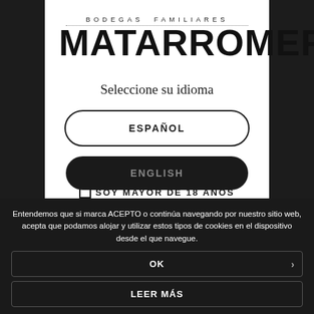[Figure (logo): Bodegas Familiares Matarromera logo with dotted line separator]
Seleccione su idioma
ESPAÑOL
ENGLISH
Entendemos que si marca ACEPTO o continúa navegando por nuestro sitio web, acepta que podamos alojar y utilizar estos tipos de cookies en el dispositivo desde el que navegue.
OK
SOY MAYOR DE 18 AÑOS
LEER MÁS
RECORDARME